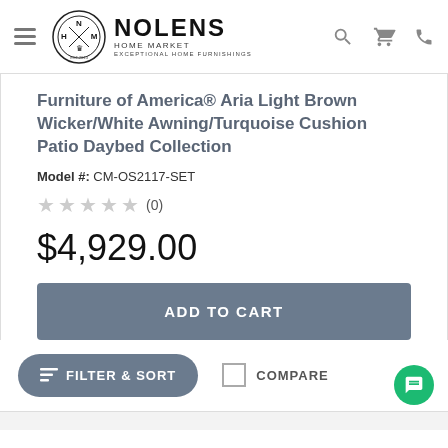Nolens Home Market — Exceptional Home Furnishings
Furniture of America® Aria Light Brown Wicker/White Awning/Turquoise Cushion Patio Daybed Collection
Model #: CM-OS2117-SET
★★★★★ (0)
$4,929.00
ADD TO CART
FILTER & SORT
COMPARE